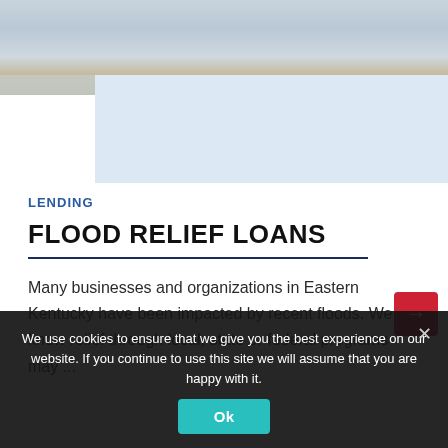[Figure (photo): Aerial or close-up view of flood water with muddy water surface and debris]
LENDING
FLOOD RELIEF LOANS
Many businesses and organizations in Eastern Kentucky have been impacted by recent floods. We know relief through local, state or federal programs may ...
We use cookies to ensure that we give you the best experience on our website. If you continue to use this site we will assume that you are happy with it.